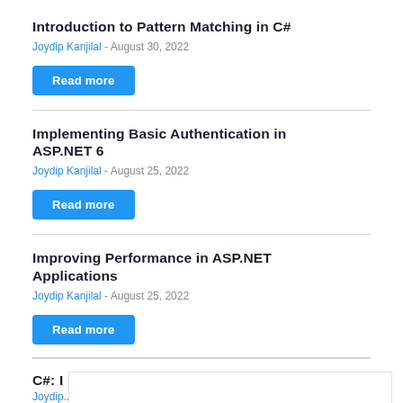Introduction to Pattern Matching in C#
Joydip Kanjilal - August 30, 2022
Read more
Implementing Basic Authentication in ASP.NET 6
Joydip Kanjilal - August 25, 2022
Read more
Improving Performance in ASP.NET Applications
Joydip Kanjilal - August 25, 2022
Read more
C#: I ... ons
Joydip...